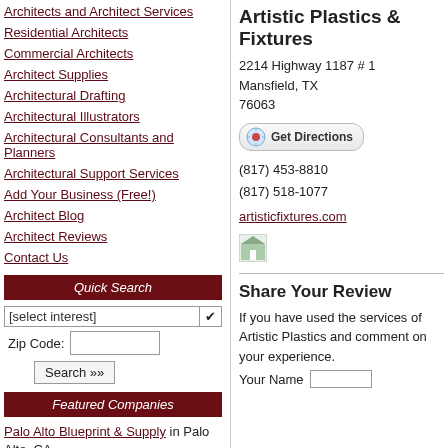Architects and Architect Services
Residential Architects
Commercial Architects
Architect Supplies
Architectural Drafting
Architectural Illustrators
Architectural Consultants and Planners
Architectural Support Services
Add Your Business (Free!)
Architect Blog
Architect Reviews
Contact Us
Quick Search
[select interest]
Zip Code:
Search »»
Featured Companies
Palo Alto Blueprint & Supply in Palo Alto, CA
Chuck Padgett & Associates in Cumming
Artistic Plastics & Fixtures
2214 Highway 1187 # 1
Mansfield, TX
76063
Get Directions
(817) 453-8810
(817) 518-1077
artisticfixtures.com
[Figure (illustration): Small image placeholder icon]
Share Your Review
If you have used the services of Artistic Plastics and comment on your experience.
Your Name